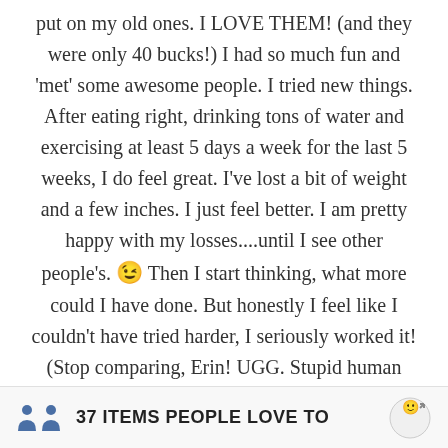put on my old ones.  I LOVE THEM!  (and they were only 40 bucks!) I had so much fun and 'met' some awesome people.  I tried new things.  After eating right, drinking tons of water and exercising at least 5 days a week for the last 5 weeks, I do feel great.  I've lost a bit of weight and a few inches.  I just feel better.  I am pretty happy with my losses....until I see other people's. 😉  Then I start thinking, what more could I have done.  But honestly I feel like I couldn't have tried harder, I seriously worked it! (Stop comparing, Erin!  UGG.  Stupid human nature!) I'm going to keep at it and hope to lose at least 30 more pounds.  Thanks Mamavation and Omron Fitness for the amazing opportunity.
37 ITEMS PEOPLE LOVE TO